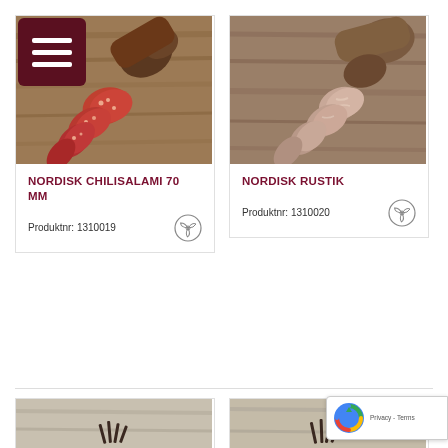[Figure (photo): Menu hamburger button, dark red/maroon background with three white horizontal lines]
[Figure (photo): Nordisk Chilisalami 70mm product photo — sliced red salami on rustic wooden board]
NORDISK CHILISALAMI 70 MM
Produktnr: 1310019
[Figure (photo): Nordisk Rustik product photo — sliced pale salami with visible fat on wooden board]
NORDISK RUSTIK
Produktnr: 1310020
[Figure (photo): Bottom-left partial product photo — wooden board with some dark sticks/herbs]
[Figure (photo): Bottom-right partial product photo — wooden board with some dark sticks/herbs]